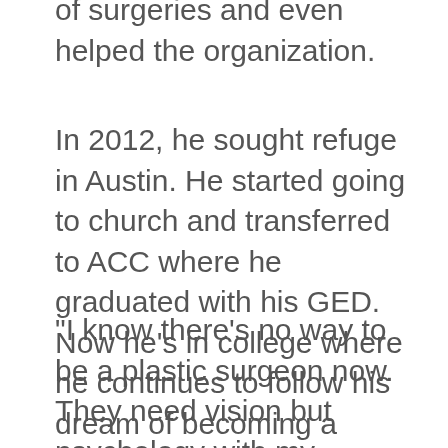of surgeries and even helped the organization.
In 2012, he sought refuge in Austin. He started going to church and transferred to ACC where he graduated with his GED. Now he’s in college where he continues to follow his dream of becoming a doctor.
“I know there’s no way to be a plastic surgeon now. They need vision but psychology with my experience in Jordan I love helping people. I love talking to them, guiding them,